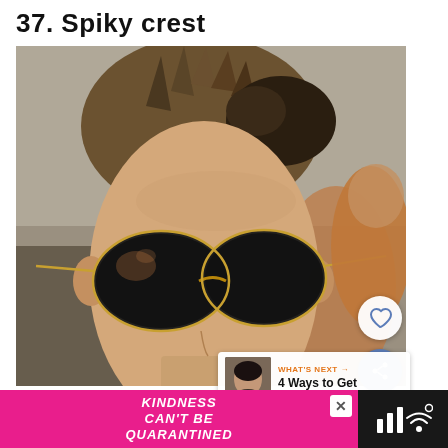37. Spiky crest
[Figure (photo): Close-up photo of a young man with a spiky crest hairstyle wearing aviator sunglasses, with blurred background]
[Figure (infographic): WHAT'S NEXT arrow label with thumbnail of woman and text '4 Ways to Get Wet Hair Lo...']
[Figure (infographic): Pink advertisement bar with text 'KINDNESS CAN'T BE QUARANTINED' with a close button and a dark right section with speaker/wifi icons]